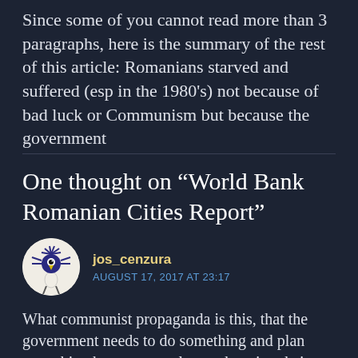Since some of you cannot read more than 3 paragraphs, here is the summary of the rest of this article: Romanians starved and suffered (esp in the 1980's) not because of bad luck or Communism but because the government
One thought on “World Bank Romanian Cities Report”
jos_cenzura
AUGUST 17, 2017 AT 23:17
What communist propaganda is this, that the government needs to do something and plan something because people are changing their address? I am so tired of public development